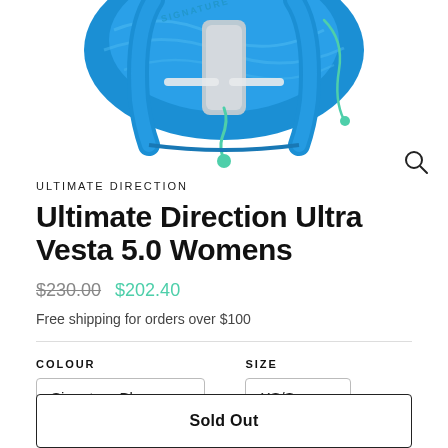[Figure (photo): Blue Ultimate Direction running vest/hydration pack (Signature Blue color) photographed from the front, showing straps, pockets, and mint green accents]
ULTIMATE DIRECTION
Ultimate Direction Ultra Vesta 5.0 Womens
$230.00  $202.40
Free shipping for orders over $100
COLOUR
Signature Blue
SIZE
XS/S
Sold Out